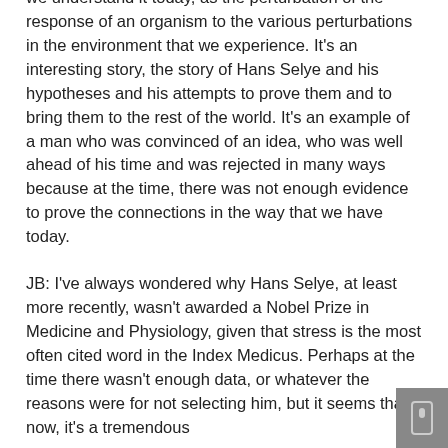we understand it today, as the perturbation of the response of an organism to the various perturbations in the environment that we experience. It's an interesting story, the story of Hans Selye and his hypotheses and his attempts to prove them and to bring them to the rest of the world. It's an example of a man who was convinced of an idea, who was well ahead of his time and was rejected in many ways because at the time, there was not enough evidence to prove the connections in the way that we have today.
JB: I've always wondered why Hans Selye, at least more recently, wasn't awarded a Nobel Prize in Medicine and Physiology, given that stress is the most often cited word in the Index Medicus. Perhaps at the time there wasn't enough data, or whatever the reasons were for not selecting him, but it seems that now, it's a tremendous